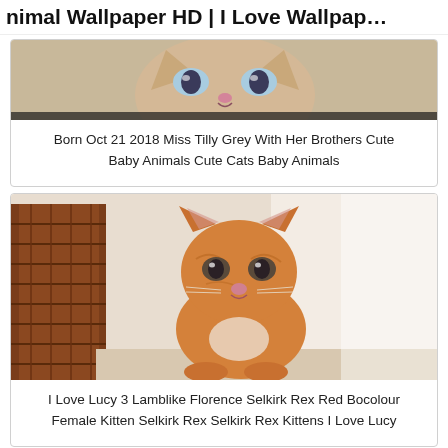Animal Wallpaper HD | I Love Wallpap…
[Figure (photo): Close-up photo of a kitten with blue eyes and light fur — top portion of image visible]
Born Oct 21 2018 Miss Tilly Grey With Her Brothers Cute Baby Animals Cute Cats Baby Animals
[Figure (photo): Photo of an orange tabby kitten (Selkirk Rex) sitting upright, with a wicker basket in the background]
I Love Lucy 3 Lamblike Florence Selkirk Rex Red Bocolour Female Kitten Selkirk Rex Selkirk Rex Kittens I Love Lucy